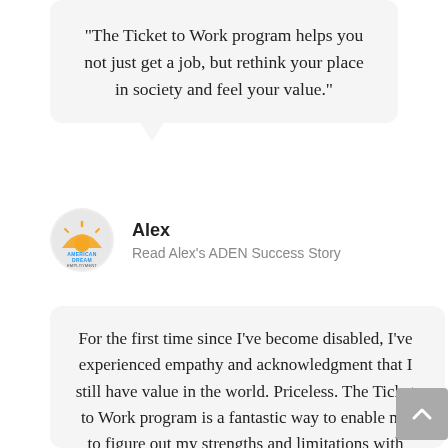“The Ticket to Work program helps you not just get a job, but rethink your place in society and feel your value.”
[Figure (logo): American Dream Employment Network logo in a circular frame]
Alex
Read Alex’s ADEN Success Story
For the first time since I’ve become disabled, I’ve experienced empathy and acknowledgment that I still have value in the world. Priceless. The Ticket to Work program is a fantastic way to enable me to figure out my strengths and limitations with very little risk. There is still hope,